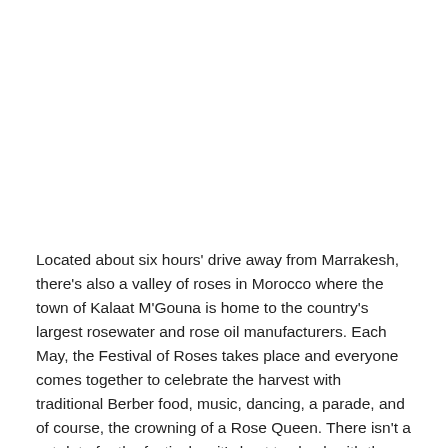Located about six hours' drive away from Marrakesh, there's also a valley of roses in Morocco where the town of Kalaat M'Gouna is home to the country's largest rosewater and rose oil manufacturers. Each May, the Festival of Roses takes place and everyone comes together to celebrate the harvest with traditional Berber food, music, dancing, a parade, and of course, the crowning of a Rose Queen. There isn't a set date for the festival so it's best to check with the Morocco Tourist Office before you go. Don't know what to do with rosewater? Put a drop or two into your Moroccan mint tea, or spray it onto your prosecco glass for extra finesse.